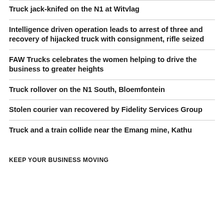Truck jack-knifed on the N1 at Witvlag
Intelligence driven operation leads to arrest of three and recovery of hijacked truck with consignment, rifle seized
FAW Trucks celebrates the women helping to drive the business to greater heights
Truck rollover on the N1 South, Bloemfontein
Stolen courier van recovered by Fidelity Services Group
Truck and a train collide near the Emang mine, Kathu
KEEP YOUR BUSINESS MOVING